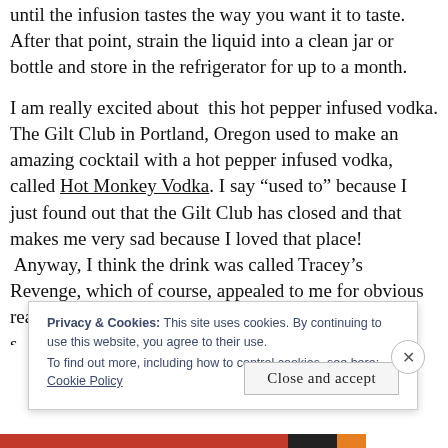until the infusion tastes the way you want it to taste. After that point, strain the liquid into a clean jar or bottle and store in the refrigerator for up to a month.
I am really excited about  this hot pepper infused vodka. The Gilt Club in Portland, Oregon used to make an amazing cocktail with a hot pepper infused vodka, called Hot Monkey Vodka. I say "used to" because I just found out that the Gilt Club has closed and that makes me very sad because I loved that place!  Anyway, I think the drink was called Tracey's Revenge, which of course, appealed to me for obvious reasons!  The drink was lip-
Privacy & Cookies: This site uses cookies. By continuing to use this website, you agree to their use.
To find out more, including how to control cookies, see here:
Cookie Policy
Close and accept